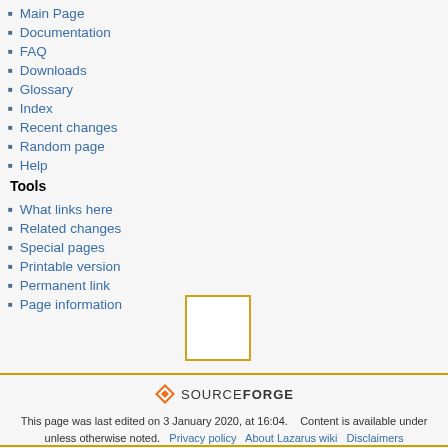Main Page
Documentation
FAQ
Downloads
Glossary
Index
Recent changes
Random page
Help
Tools
What links here
Related changes
Special pages
Printable version
Permanent link
Page information
[Figure (other): Yellow-bordered white square box]
[Figure (logo): SourceForge logo with orange diamond icon and text SOURCEFORGE]
This page was last edited on 3 January 2020, at 16:04.    Content is available under unless otherwise noted.    Privacy policy    About Lazarus wiki    Disclaimers